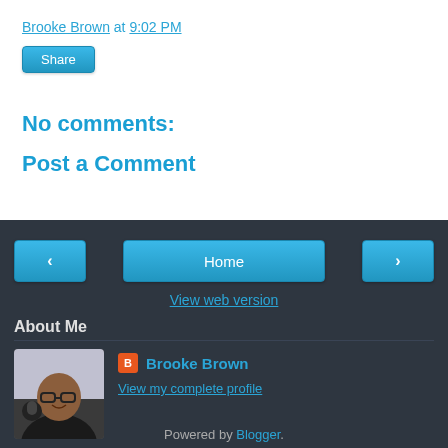Brooke Brown at 9:02 PM
Share
No comments:
Post a Comment
< Home >
View web version
About Me
[Figure (photo): Profile photo of Brooke Brown]
Brooke Brown
View my complete profile
Powered by Blogger.